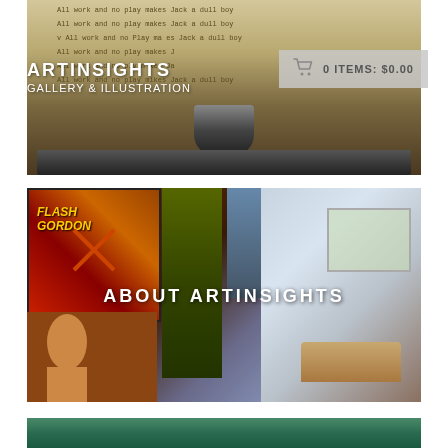[Figure (photo): Typewriter with repeated text 'All work and no play makes Jack a dull boy' on paper, dark typewriter mechanism visible]
ARTINSIGHTS
0 ITEMS: $0.00
[Figure (photo): Art gallery interior with framed movie posters including Flash Gordon on wall, couch/seating area, large windows, colorful artwork]
ABOUT ARTINSIGHTS
[Figure (photo): Partial bottom image, appears to show colorful artwork or mural in blue/green tones]